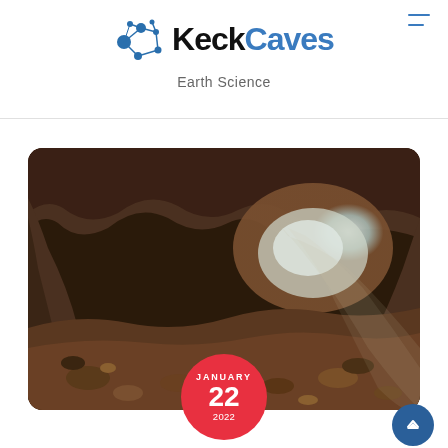[Figure (logo): KeckCaves logo with blue network/molecular dot icon on left and text 'KeckCaves' with 'Keck' in black and 'Caves' in blue]
Earth Science
[Figure (photo): Interior view of a cave looking toward a bright opening, rocky floor, warm brown tones with light streaming in from the cave mouth]
JANUARY 22 2022